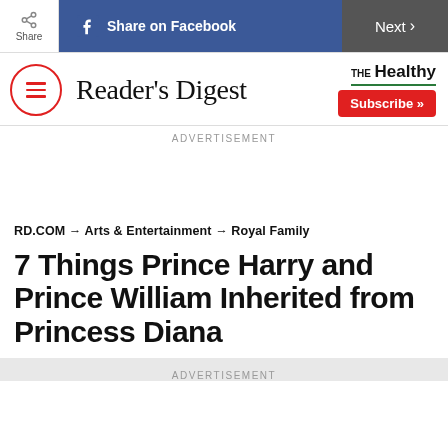Share | Share on Facebook | Next >
[Figure (logo): Reader's Digest logo with hamburger menu icon in red circle and THE Healthy branding with Subscribe button]
ADVERTISEMENT
RD.COM → Arts & Entertainment → Royal Family
7 Things Prince Harry and Prince William Inherited from Princess Diana
ADVERTISEMENT